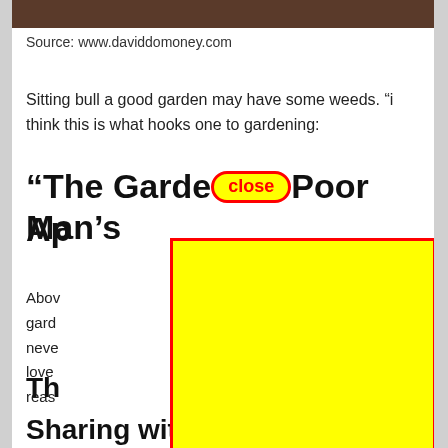[Figure (photo): Partial photo strip at the top of the page, cut off]
Source: www.daviddomoney.com
Sitting bull a good garden may have some weeds. “i think this is what hooks one to gardening:
“The Garden … Poor Man’s Ap…
[Figure (other): Yellow advertisement overlay with red border and close button, covering center of page]
Abov… gard… out neve… love… reas…
Th…
Sharing with Us Every Month